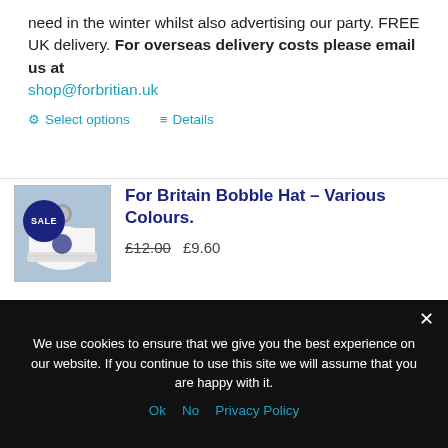need in the winter whilst also advertising our party. FREE UK delivery. For overseas delivery costs please email us at shop@forbritian.uk
Select options   Details
For Britain Bobble Hat – Various Colours.
£12.00  £9.60
We use cookies to ensure that we give you the best experience on our website. If you continue to use this site we will assume that you are happy with it.
Ok   No   Privacy Policy